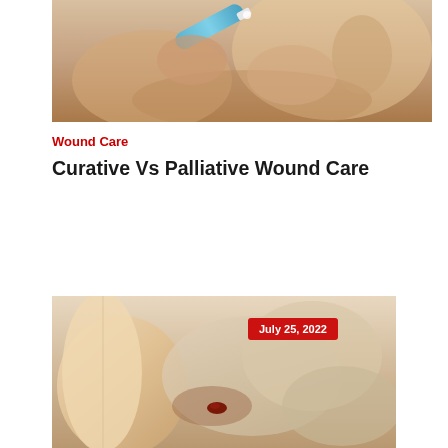[Figure (photo): Hands applying cream from a blue tube to a child's arm or body, wound care cream application]
Wound Care
Curative Vs Palliative Wound Care
[Figure (photo): Medical professional in gloves treating a wound on a patient's leg, with a date badge showing July 25, 2022]